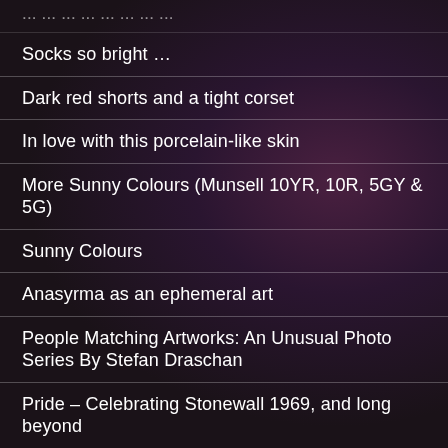(partial top item — clipped)
Socks so bright …
Dark red shorts and a tight corset
In love with this porcelain-like skin
More Sunny Colours (Munsell 10YR, 10R, 5GY & 5G)
Sunny Colours
Anasyrma as an ephemeral art
People Matching Artworks: An Unusual Photo Series By Stefan Draschan
Pride – Celebrating Stonewall 1969, and long beyond
Exactly 53 Years Old Blackness